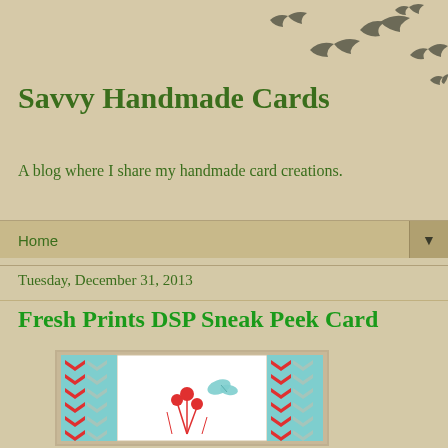Savvy Handmade Cards
A blog where I share my handmade card creations.
Home
Tuesday, December 31, 2013
Fresh Prints DSP Sneak Peek Card
[Figure (photo): A handmade card featuring colorful red floral stamping on white background, with teal and red chevron/arrow patterned DSP border, and a teal butterfly embellishment in the upper right corner.]